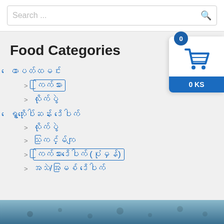Search ...
Food Categories
ထောပတ်ထမင်း
ကြက်သား
လိုက်ပွဲ
ရွှေဘိုပေါ်ဆန်း ဒိပေါက်
လိုက်ပွဲ
သင်္ကြမ်ကျ
ကြက်သားဒိပေါက် (ပုံမှန်)
အသဲ/အမြစ် ဒိပေါက်